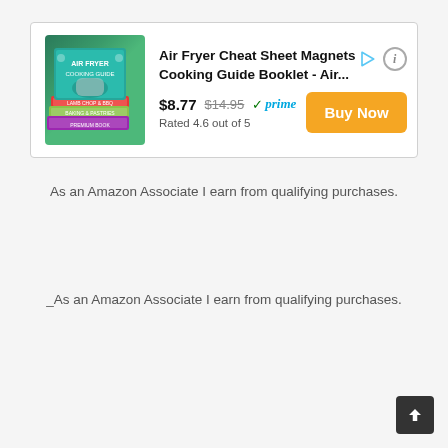[Figure (screenshot): Amazon product advertisement box showing Air Fryer Cheat Sheet Magnets Cooking Guide Booklet with book stack image, price $8.77 (was $14.95), Prime badge, rating 4.6 out of 5, and orange Buy Now button]
As an Amazon Associate I earn from qualifying purchases.
_As an Amazon Associate I earn from qualifying purchases.